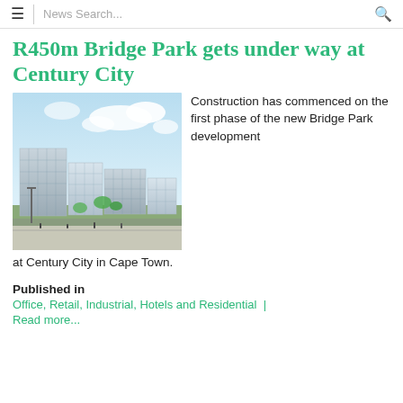≡  News Search...  🔍
R450m Bridge Park gets under way at Century City
[Figure (photo): Architectural rendering of Bridge Park development at Century City showing modern office buildings with glass facades, green landscaping, and a cloudy blue sky backdrop.]
Construction has commenced on the first phase of the new Bridge Park development at Century City in Cape Town.
Published in
Office, Retail, Industrial, Hotels and Residential |
Read more...